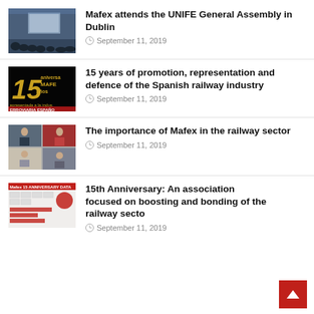[Figure (photo): Conference room with audience silhouettes and a presentation screen with blue/purple lighting]
Mafex attends the UNIFE General Assembly in Dublin
September 11, 2019
[Figure (photo): Black background with golden '15 años' MAFEX anniversary text and red band at bottom reading FERROVIARIA ESPAÑOLA]
15 years of promotion, representation and defence of the Spanish railway industry
September 11, 2019
[Figure (photo): Four-panel collage: two men in suits, a woman in red, a woman at desk, and a young man]
The importance of Mafex in the railway sector
September 11, 2019
[Figure (photo): Infographic/exhibition board with Mafex 15th anniversary data, logos, red header and circular diagram]
15th Anniversary: An association focused on boosting and bonding of the railway secto
September 11, 2019